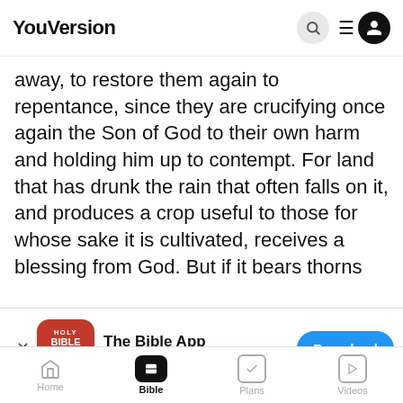YouVersion
away, to restore them again to repentance, since they are crucifying once again the Son of God to their own harm and holding him up to contempt. For land that has drunk the rain that often falls on it, and produces a crop useful to those for whose sake it is cultivated, receives a blessing from God. But if it bears thorns
[Figure (screenshot): The Bible App download banner with Holy Bible icon, 4.5 star rating, 7.9M ratings, and a blue Download button]
things—things that belong to salvation. For God is not unjust so as to overlook your work and the love that you have shown for his name... you still... the same earnestness to have the full assurance of
YouVersion uses cookies to personalize your experience. By using our website, you accept our use of cookies as described in our Privacy Policy.
Home | Bible | Plans | Videos